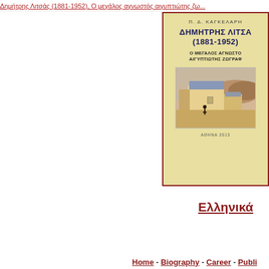Δημήτρης Λιτσάς (1881-1952), Ο μεγάλος αγνωστός...
[Figure (illustration): Book cover with beige background and dark red border. Shows Greek text: Π. Δ. ΚΑΓΚΕΛΑΡΗ (author), ΔΗΜΗΤΡΗΣ ΛΙΤΣΑ... (1881-1952), Ο ΜΕΓΑΛΟΣ ΑΓΝΩΣΤΟ... ΑΙΓΥΠΤΙΩΤΗΣ ΖΩΓΡΑΦ... and a watercolor painting of a Mediterranean village scene with white buildings and a lone figure. Bottom text: ΑΘΗΝΑ 2013.]
Ελληνικά
Home - Biography - Career - Publi...